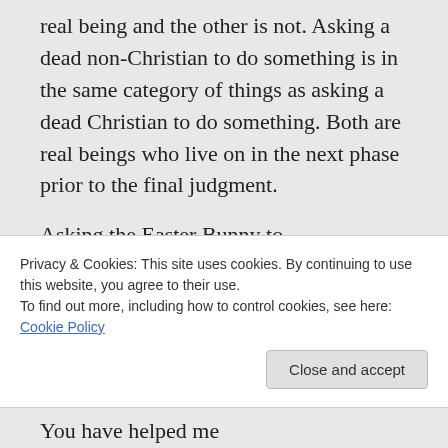real being and the other is not. Asking a dead non-Christian to do something is in the same category of things as asking a dead Christian to do something. Both are real beings who live on in the next phase prior to the final judgment.
Asking the Easter Bunny to
Privacy & Cookies: This site uses cookies. By continuing to use this website, you agree to their use.
To find out more, including how to control cookies, see here: Cookie Policy
You have helped me